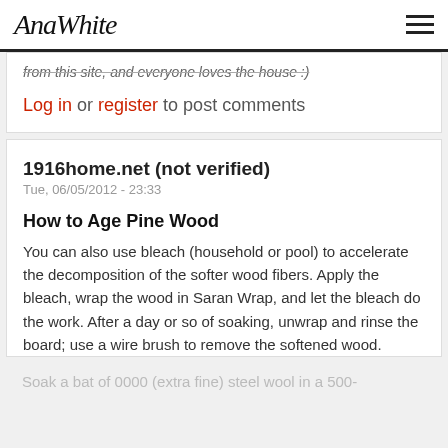AnaWhite
from this site, and everyone loves the house :)
Log in or register to post comments
1916home.net (not verified)
Tue, 06/05/2012 - 23:33
How to Age Pine Wood
You can also use bleach (household or pool) to accelerate the decomposition of the softer wood fibers. Apply the bleach, wrap the wood in Saran Wrap, and let the bleach do the work. After a day or so of soaking, unwrap and rinse the board; use a wire brush to remove the softened wood.
Soak a bat of 0000 (extra fine) steel wool in a 500-